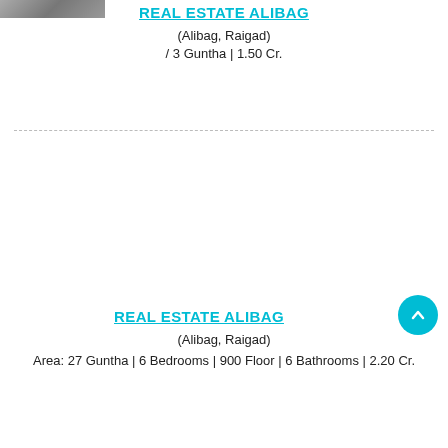[Figure (photo): Partial property photo in top-left corner]
REAL ESTATE ALIBAG
(Alibag, Raigad)
/ 3 Guntha | 1.50 Cr.
REAL ESTATE ALIBAG
(Alibag, Raigad)
Area: 27 Guntha | 6 Bedrooms | 900 Floor | 6 Bathrooms | 2.20 Cr.